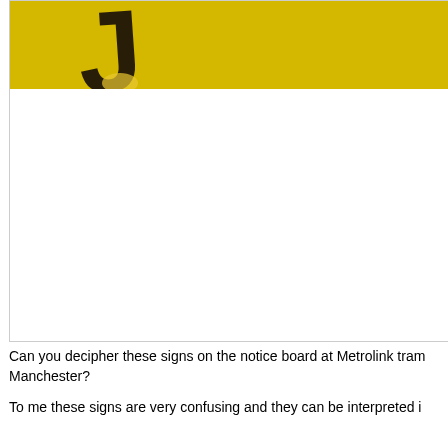[Figure (photo): Close-up photo of a yellow notice board sign at a Metrolink tram stop in Manchester, showing a large dark letter J against a yellow background. The image is cropped, showing only the top portion of the sign.]
Can you decipher these signs on the notice board at Metrolink tram Manchester?
To me these signs are very confusing and they can be interpreted i